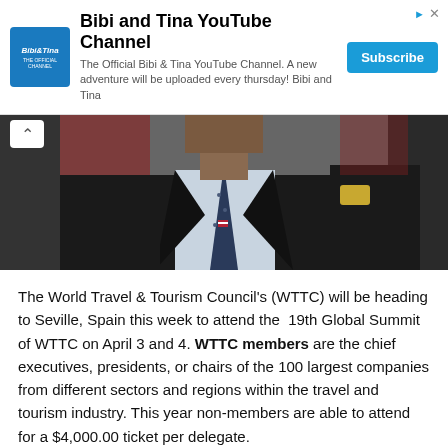[Figure (screenshot): YouTube channel ad banner for Bibi and Tina YouTube Channel with logo, description text, and Subscribe button]
[Figure (photo): Photo of a man in a dark suit and tie with American flag pin, possibly at a political event, partially visible from shoulders up]
The World Travel & Tourism Council's (WTTC) will be heading to Seville, Spain this week to attend the 19th Global Summit of WTTC on April 3 and 4. WTTC members are the chief executives, presidents, or chairs of the 100 largest companies from different sectors and regions within the travel and tourism industry. This year non-members are able to attend for a $4,000.00 ticket per delegate.
The event will be centered on the theme of 'Changemakers',